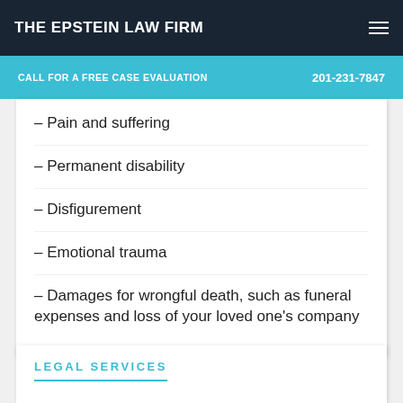THE EPSTEIN LAW FIRM
CALL FOR A FREE CASE EVALUATION   201-231-7847
– Pain and suffering
– Permanent disability
– Disfigurement
– Emotional trauma
– Damages for wrongful death, such as funeral expenses and loss of your loved one's company
LEGAL SERVICES